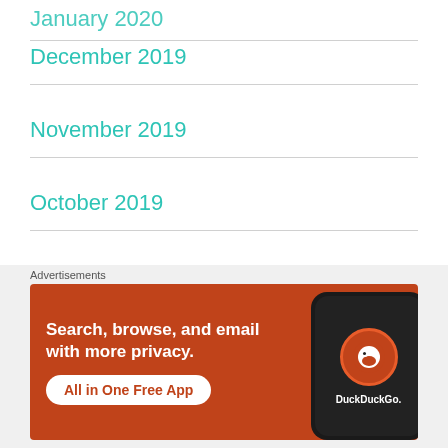January 2020
December 2019
November 2019
October 2019
September 2019
August 2019
Advertisements
[Figure (other): DuckDuckGo advertisement banner: orange background with white text 'Search, browse, and email with more privacy. All in One Free App' and DuckDuckGo logo on a phone mockup]